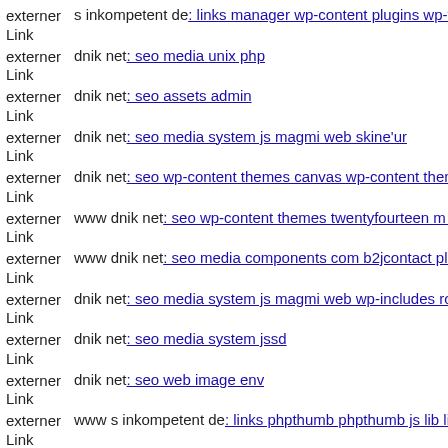externer Link  s inkompetent de: links manager wp-content plugins wp-file...
externer Link  dnik net: seo media unix php
externer Link  dnik net: seo assets admin
externer Link  dnik net: seo media system js magmi web skine'ur
externer Link  dnik net: seo wp-content themes canvas wp-content themes...
externer Link  www dnik net: seo wp-content themes twentyfourteen m ch...
externer Link  www dnik net: seo media components com b2jcontact plug...
externer Link  dnik net: seo media system js magmi web wp-includes rout...
externer Link  dnik net: seo media system jssd
externer Link  dnik net: seo web image env
externer Link  www s inkompetent de: links phpthumb phpthumb js lib lin...